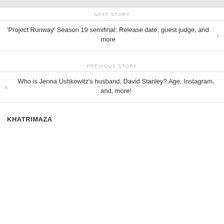NEXT STORY
'Project Runway' Season 19 semifinal: Release date, guest judge, and more
PREVIOUS STORY
Who is Jenna Ushkowitz's husband, David Stanley? Age, Instagram, and, more!
KHATRIMAZA